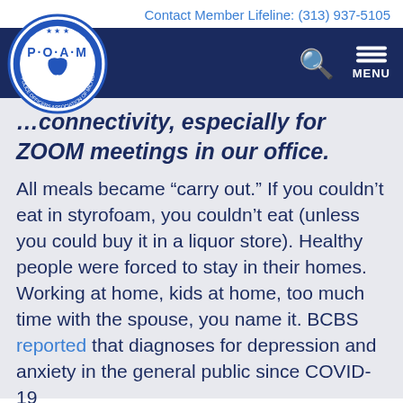Contact Member Lifeline: (313) 937-5105
[Figure (logo): POAM Police Officers Association of Michigan circular logo in blue and white]
...connectivity, especially for ZOOM meetings in our office.
All meals became “carry out.” If you couldn’t eat in styrofoam, you couldn’t eat (unless you could buy it in a liquor store). Healthy people were forced to stay in their homes. Working at home, kids at home, too much time with the spouse, you name it. BCBS reported that diagnoses for depression and anxiety in the general public since COVID-19 had tripled in a remarkably short period of time.